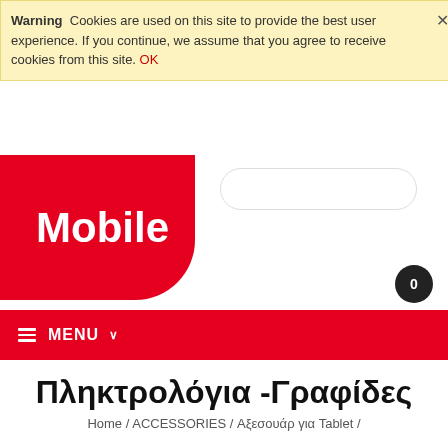Warning  Cookies are used on this site to provide the best user experience. If you continue, we assume that you agree to receive cookies from this site. OK
[Figure (logo): Mobile store logo — white bold text 'Mobile' on red rounded rectangle background]
≡ MENU ∨
Πληκτρολόγια -Γραφίδες
Home / ACCESSORIES / Αξεσουάρ για Tablet /
There are no products in this section